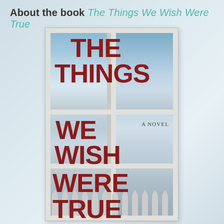About the book The Things We Wish Were True
[Figure (illustration): Book cover of 'The Things We Wish Were True' showing a window frame divided into six panes, each revealing a sky with clouds background. Large bold red serif/sans-serif text reads 'THE THINGS WE WISH WERE TRUE' across the panels. 'A NOVEL' appears in smaller text in the middle-right panel. White fence pickets are visible at the bottom of the cover.]